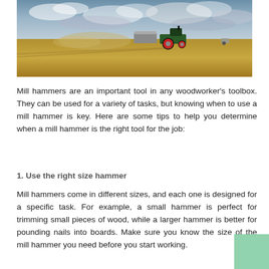[Figure (photo): Aerial/wide-angle photograph of a tractor pulling a trailer across a harvested wheat field under a dramatic cloudy sky, with dust rising behind the machinery.]
Mill hammers are an important tool in any woodworker's toolbox. They can be used for a variety of tasks, but knowing when to use a mill hammer is key. Here are some tips to help you determine when a mill hammer is the right tool for the job:
1. Use the right size hammer
Mill hammers come in different sizes, and each one is designed for a specific task. For example, a small hammer is perfect for trimming small pieces of wood, while a larger hammer is better for pounding nails into boards. Make sure you know the size of the mill hammer you need before you start working.